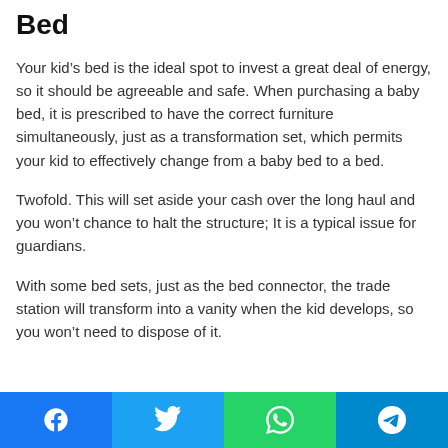Bed
Your kid’s bed is the ideal spot to invest a great deal of energy, so it should be agreeable and safe. When purchasing a baby bed, it is prescribed to have the correct furniture simultaneously, just as a transformation set, which permits your kid to effectively change from a baby bed to a bed.
Twofold. This will set aside your cash over the long haul and you won’t chance to halt the structure; It is a typical issue for guardians.
With some bed sets, just as the bed connector, the trade station will transform into a vanity when the kid develops, so you won’t need to dispose of it.
Social share buttons: Facebook, Twitter, WhatsApp, Telegram